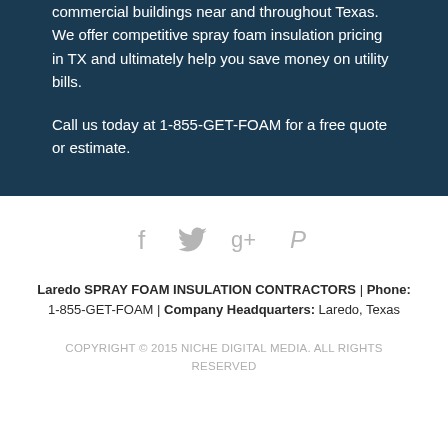commercial buildings near and throughout Texas. We offer competitive spray foam insulation pricing in TX and ultimately help you save money on utility bills.
Call us today at 1-855-GET-FOAM for a free quote or estimate.
[Figure (infographic): Social media icons: Facebook, Twitter, Google+, Pinterest — displayed in gray]
Laredo SPRAY FOAM INSULATION CONTRACTORS | Phone: 1-855-GET-FOAM | Company Headquarters: Laredo, Texas
COPYRIGHT © 2015 NICHE DIGITAL MEDIA. ALL RIGHTS RESERVED